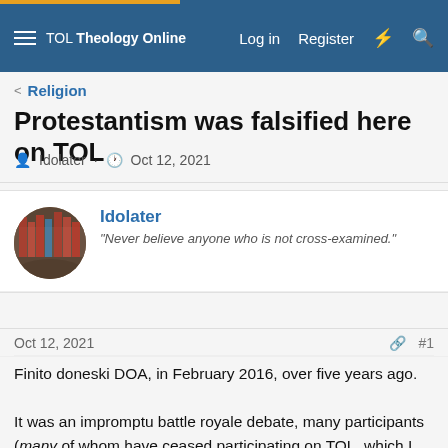TOL Theology Online | Log in | Register
< Religion
Protestantism was falsified here on TOL
Idolater · Oct 12, 2021
Idolater
"Never believe anyone who is not cross-examined."
Oct 12, 2021   #1
Finito doneski DOA, in February 2016, over five years ago.

It was an impromptu battle royale debate, many participants (many of whom have ceased participating on TOL, which I don't think is coincidental), during which a group of Catholic users and an Orthodox user and a Noncatholic-Nonprotestant user, defeated every other Protestant view on the matter of the Real Presence of Christ in the (validly celebrated) Eucharist.